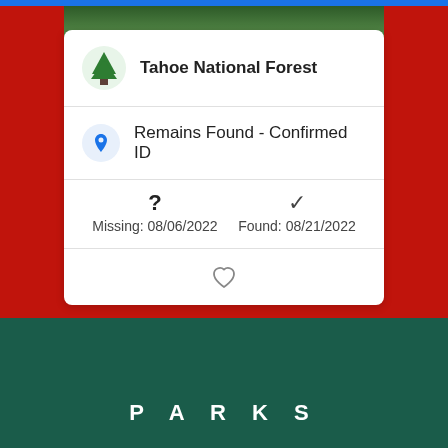[Figure (screenshot): Mobile app screenshot showing a card for a missing person case in Tahoe National Forest with status Remains Found - Confirmed ID, missing date 08/06/2022, found date 08/21/2022, with a heart/favorite button, a View All People button, and a PARKS footer on teal background.]
Tahoe National Forest
Remains Found - Confirmed ID
Missing: 08/06/2022
Found: 08/21/2022
VIEW ALL PEOPLE
PARKS